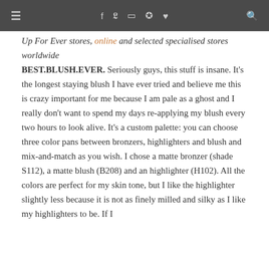≡   f  y  ⊡  ⊕  ♥   🔍
Up For Ever stores, online and selected specialised stores worldwide BEST.BLUSH.EVER. Seriously guys, this stuff is insane. It's the longest staying blush I have ever tried and believe me this is crazy important for me because I am pale as a ghost and I really don't want to spend my days re-applying my blush every two hours to look alive. It's a custom palette: you can choose three color pans between bronzers, highlighters and blush and mix-and-match as you wish. I chose a matte bronzer (shade S112), a matte blush (B208) and an highlighter (H102). All the colors are perfect for my skin tone, but I like the highlighter slightly less because it is not as finely milled and silky as I like my highlighters to be. If I